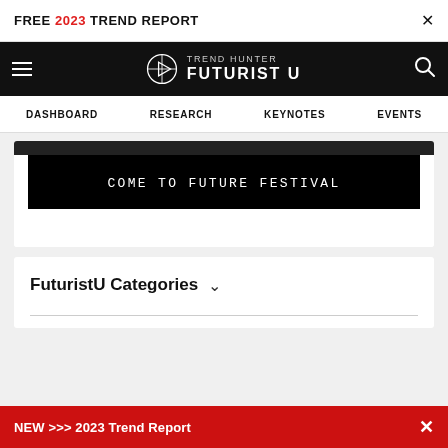FREE 2023 TREND REPORT ×
[Figure (logo): Trend Hunter Futurist U logo with navigation bar (hamburger menu, circular logo mark, TREND HUNTER FUTURIST U text, search icon) on black background]
DASHBOARD   RESEARCH   KEYNOTES   EVENTS
COME TO FUTURE FESTIVAL
FuturistU Categories ∨
NEW >>> 2023 Trend Report ×